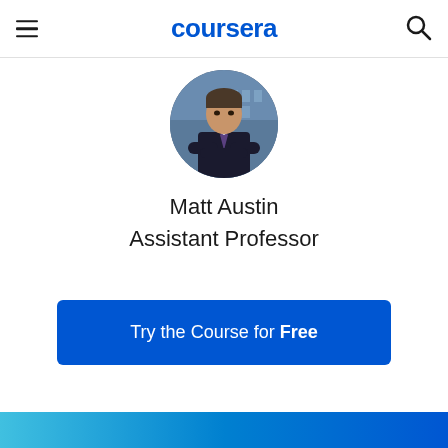coursera
[Figure (photo): Circular profile photo of Matt Austin, a man in a dark suit with arms crossed, professional headshot against a blurred building background]
Matt Austin
Assistant Professor
Try the Course for Free